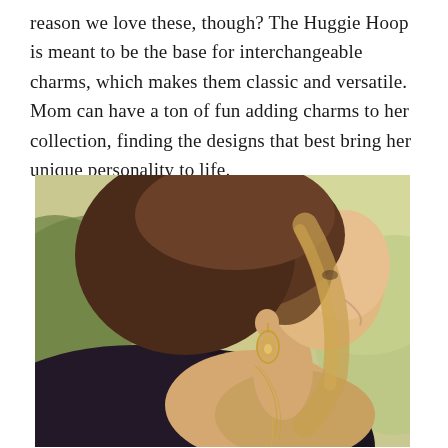reason we love these, though? The Huggie Hoop is meant to be the base for interchangeable charms, which makes them classic and versatile. Mom can have a ton of fun adding charms to her collection, finding the designs that best bring her unique personality to life.
[Figure (photo): A woman with brown hair with blonde highlights, seen from behind/side profile, wearing gold drop earrings and a delicate gold necklace, dressed in a black off-shoulder top, smiling, with a blurred green outdoor background.]